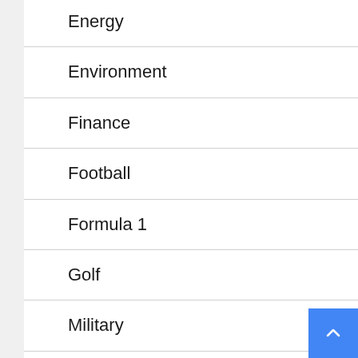Energy
Environment
Finance
Football
Formula 1
Golf
Military
NASA
News